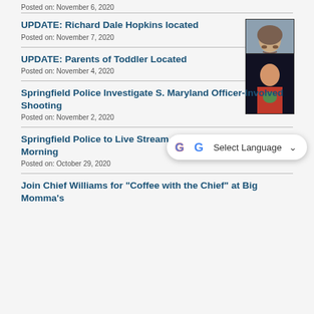Posted on: November 6, 2020
UPDATE: Richard Dale Hopkins located
Posted on: November 7, 2020
[Figure (photo): Headshot photo of Richard Dale Hopkins, older man with mustache]
UPDATE: Parents of Toddler Located
Posted on: November 4, 2020
[Figure (photo): Photo of a young toddler girl in red outfit]
Springfield Police Investigate S. Maryland Officer-Involved Shooting
Posted on: November 2, 2020
Springfield Police to Live Stream Award Ceremony This Morning
Posted on: October 29, 2020
Join Chief Williams for "Coffee with the Chief" at Big Momma's